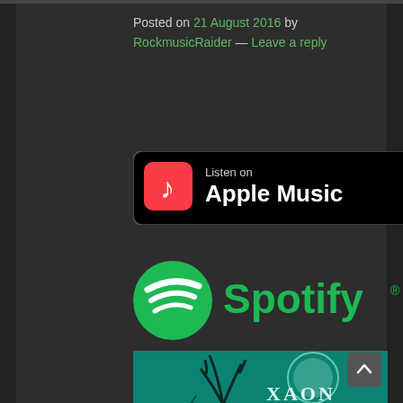Posted on 21 August 2016 by RockmusicRaider — Leave a reply
[Figure (logo): Listen on Apple Music badge — black rounded rectangle with Apple Music logo and text]
[Figure (logo): Spotify logo — green circle with white sound wave lines and green Spotify wordmark]
[Figure (photo): Xaon album art — dark teal/green atmospheric cover showing a figure with tree branches growing from their head, with XAON text and subtitle in upper right]